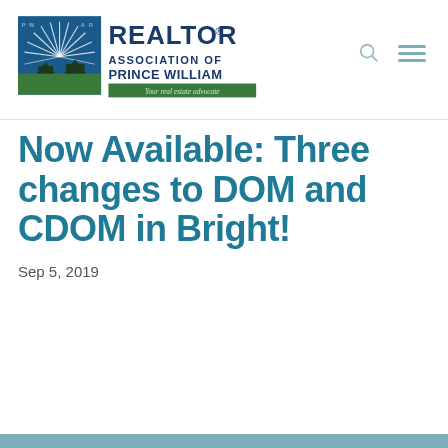[Figure (logo): REALTOR Association of Prince William logo with sunburst graphic and green banner reading 'Your real estate advocate']
Now Available: Three changes to DOM and CDOM in Bright!
Sep 5, 2019